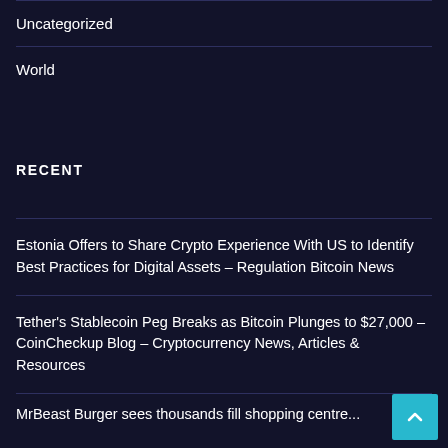Uncategorized
World
RECENT
Estonia Offers to Share Crypto Experience With US to Identify Best Practices for Digital Assets – Regulation Bitcoin News
Tether's Stablecoin Peg Breaks as Bitcoin Plunges to $27,000 – CoinCheckup Blog – Cryptocurrency News, Articles & Resources
MrBeast Burger sees thousands fill shopping centre...